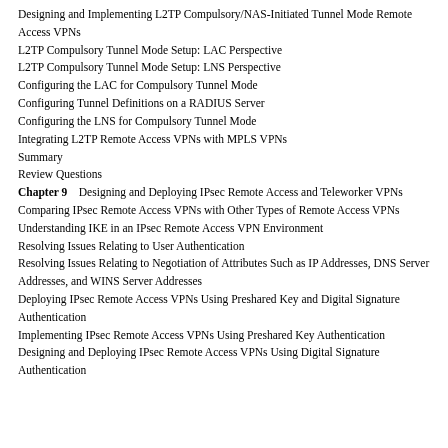Designing and Implementing L2TP Compulsory/NAS-Initiated Tunnel Mode Remote Access VPNs
L2TP Compulsory Tunnel Mode Setup: LAC Perspective
L2TP Compulsory Tunnel Mode Setup: LNS Perspective
Configuring the LAC for Compulsory Tunnel Mode
Configuring Tunnel Definitions on a RADIUS Server
Configuring the LNS for Compulsory Tunnel Mode
Integrating L2TP Remote Access VPNs with MPLS VPNs
Summary
Review Questions
Chapter 9    Designing and Deploying IPsec Remote Access and Teleworker VPNs
Comparing IPsec Remote Access VPNs with Other Types of Remote Access VPNs
Understanding IKE in an IPsec Remote Access VPN Environment
Resolving Issues Relating to User Authentication
Resolving Issues Relating to Negotiation of Attributes Such as IP Addresses, DNS Server Addresses, and WINS Server Addresses
Deploying IPsec Remote Access VPNs Using Preshared Key and Digital Signature Authentication
Implementing IPsec Remote Access VPNs Using Preshared Key Authentication
Designing and Deploying IPsec Remote Access VPNs Using Digital Signature Authentication